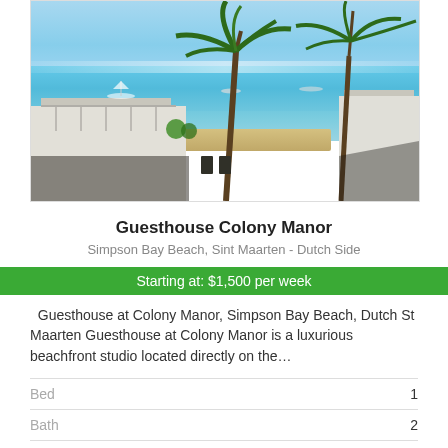[Figure (photo): Aerial/elevated view of beachfront property at Colony Manor, Simpson Bay Beach, Sint Maarten, showing white buildings, palm trees, turquoise water with sailboats in background]
Guesthouse Colony Manor
Simpson Bay Beach, Sint Maarten - Dutch Side
Starting at: $1,500 per week
Guesthouse at Colony Manor, Simpson Bay Beach, Dutch St Maarten Guesthouse at Colony Manor is a luxurious beachfront studio located directly on the…
|  |  |
| --- | --- |
| Bed | 1 |
| Bath | 2 |
| Type | Beachfront, Studio |